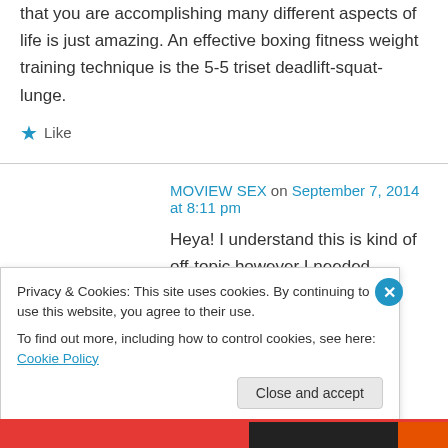that you are accomplishing many different aspects of life is just amazing. An effective boxing fitness weight training technique is the 5-5 triset deadlift-squat-lunge.
★ Like
MOVIEW SEX on September 7, 2014 at 8:11 pm
Heya! I understand this is kind of off-topic however I needed
Privacy & Cookies: This site uses cookies. By continuing to use this website, you agree to their use.
To find out more, including how to control cookies, see here: Cookie Policy